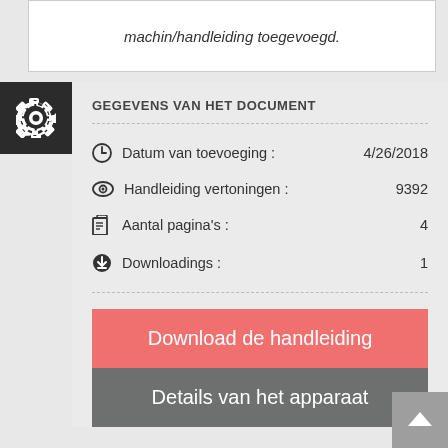machin/handleiding toegevoegd.
GEGEVENS VAN HET DOCUMENT
Datum van toevoeging : 4/26/2018
Handleiding vertoningen : 9392
Aantal pagina's : 4
Downloadings : 1
Download de handleiding
Details van het apparaat